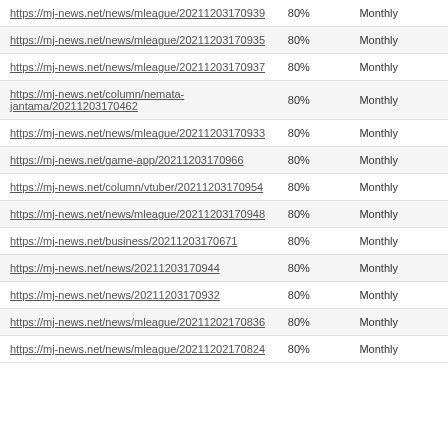| https://mj-news.net/news/mleague/20211203170939 | 80% | Monthly |
| https://mj-news.net/news/mleague/20211203170935 | 80% | Monthly |
| https://mj-news.net/news/mleague/20211203170937 | 80% | Monthly |
| https://mj-news.net/column/nemata-jantama/20211203170462 | 80% | Monthly |
| https://mj-news.net/news/mleague/20211203170933 | 80% | Monthly |
| https://mj-news.net/game-app/20211203170966 | 80% | Monthly |
| https://mj-news.net/column/vtuber/20211203170954 | 80% | Monthly |
| https://mj-news.net/news/mleague/20211203170948 | 80% | Monthly |
| https://mj-news.net/business/20211203170671 | 80% | Monthly |
| https://mj-news.net/news/20211203170944 | 80% | Monthly |
| https://mj-news.net/news/20211203170932 | 80% | Monthly |
| https://mj-news.net/news/mleague/20211202170836 | 80% | Monthly |
| https://mj-news.net/news/mleague/20211202170824 | 80% | Monthly |